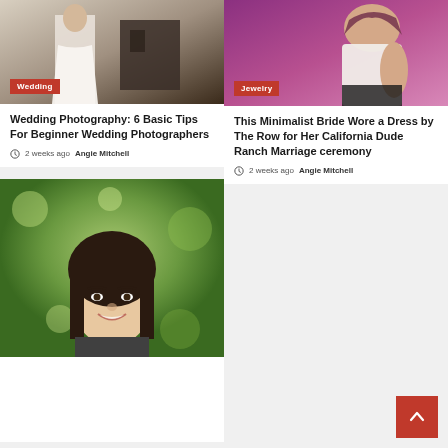[Figure (photo): Wedding photo showing person in white dress in front of dark wooden structure]
Wedding
Wedding Photography: 6 Basic Tips For Beginner Wedding Photographers
2 weeks ago  Angie Mitchell
[Figure (photo): Person in white top against purple/magenta background, jewelry context]
Jewelry
This Minimalist Bride Wore a Dress by The Row for Her California Dude Ranch Marriage ceremony
2 weeks ago  Angie Mitchell
[Figure (photo): Young woman with dark hair smiling in front of green bokeh background outdoors]